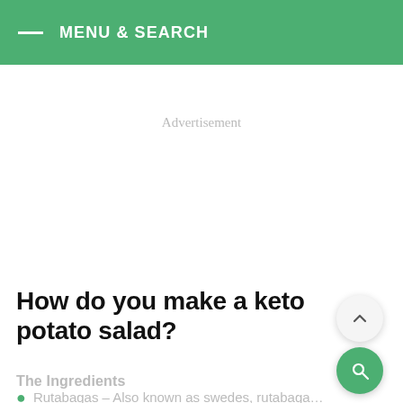MENU & SEARCH
Advertisement
How do you make a keto potato salad?
The Ingredients
Rutabagas – Also known as swedes, rutabaga…